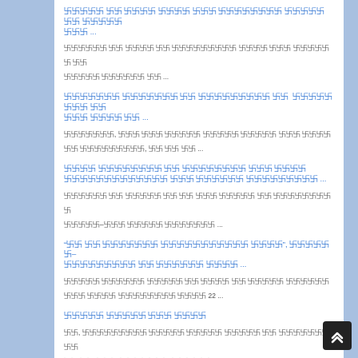ꀀꀀꀀꀀꀀ ꀀꀀ ꀀꀀꀀꀀ ꀀꀀꀀꀀ ꀀꀀꀀ ꀀꀀꀀꀀꀀꀀꀀꀀ ꀀꀀꀀꀀꀀ ꀀꀀ ꀀꀀꀀꀀꀀ ꀀꀀꀀ ...
ꀀꀀꀀꀀꀀꀀ ꀀꀀ ꀀꀀꀀꀀ ꀀꀀ ꀀꀀꀀꀀꀀꀀꀀꀀꀀ ꀀꀀꀀꀀ ꀀꀀꀀ ꀀꀀꀀꀀꀀꀀ ꀀꀀ ꀀꀀꀀꀀꀀ ꀀꀀꀀꀀꀀꀀ ꀀꀀ ...
ꀀꀀꀀꀀꀀꀀꀀ ꀀꀀꀀꀀꀀꀀꀀ ꀀꀀ ꀀꀀꀀꀀꀀꀀꀀꀀꀀ ꀀꀀ  ꀀꀀꀀꀀꀀꀀꀀꀀ ꀀꀀ ꀀꀀꀀ ꀀꀀꀀꀀ ꀀꀀ ...
ꀀꀀꀀꀀꀀꀀꀀ, ꀀꀀꀀ ꀀꀀꀀ ꀀꀀꀀꀀꀀ ꀀꀀꀀꀀꀀ ꀀꀀꀀꀀꀀ ꀀꀀꀀ ꀀꀀꀀꀀꀀꀀ ꀀꀀꀀꀀꀀꀀꀀꀀꀀ, ꀀꀀ ꀀꀀ ꀀꀀ ...
ꀀꀀꀀꀀ ꀀꀀꀀꀀꀀꀀꀀꀀ ꀀꀀ ꀀꀀꀀꀀꀀꀀꀀꀀ ꀀꀀꀀ ꀀꀀꀀꀀ ꀀꀀꀀꀀꀀꀀꀀꀀꀀꀀꀀꀀꀀ ꀀꀀꀀ ꀀꀀꀀꀀꀀꀀ ꀀꀀꀀꀀꀀꀀꀀꀀꀀ ...
ꀀꀀꀀꀀꀀꀀ ꀀꀀ ꀀꀀꀀꀀꀀ ꀀꀀ ꀀꀀ ꀀꀀꀀ ꀀꀀꀀꀀꀀ ꀀꀀ ꀀꀀꀀꀀꀀꀀꀀꀀꀀ ꀀꀀꀀꀀꀀ–ꀀꀀꀀ ꀀꀀꀀꀀꀀ ꀀꀀꀀꀀꀀꀀꀀ ...
"ꀀꀀ ꀀꀀ ꀀꀀꀀꀀꀀꀀꀀ ꀀꀀꀀꀀꀀꀀꀀꀀꀀꀀꀀ ꀀꀀꀀꀀ", ꀀꀀꀀꀀꀀꀀ–ꀀꀀꀀꀀꀀꀀꀀꀀꀀ ꀀꀀ ꀀꀀꀀꀀꀀꀀ ꀀꀀꀀꀀ ...
ꀀꀀꀀꀀꀀ ꀀꀀꀀꀀꀀꀀ ꀀꀀꀀꀀꀀ ꀀꀀ ꀀꀀꀀꀀ ꀀꀀ ꀀꀀꀀꀀꀀ ꀀꀀꀀꀀꀀꀀꀀꀀꀀ ꀀꀀꀀꀀ ꀀꀀꀀꀀꀀꀀꀀꀀ ꀀꀀꀀꀀ 22 ...
ꀀꀀꀀꀀꀀ ꀀꀀꀀꀀꀀ ꀀꀀꀀ ꀀꀀꀀꀀ
ꀀꀀ, ꀀꀀꀀꀀꀀꀀꀀꀀꀀ ꀀꀀꀀꀀꀀ ꀀꀀꀀꀀꀀ ꀀꀀꀀꀀꀀ ꀀꀀ ꀀꀀꀀꀀꀀꀀꀀꀀꀀ ꀀꀀ ꀀꀀ ꀀꀀꀀ ꀀꀀꀀꀀꀀꀀꀀ ꀀꀀꀀꀀꀀꀀ ...
DWARKA FORUM Met with Chief Engineer (Projects),